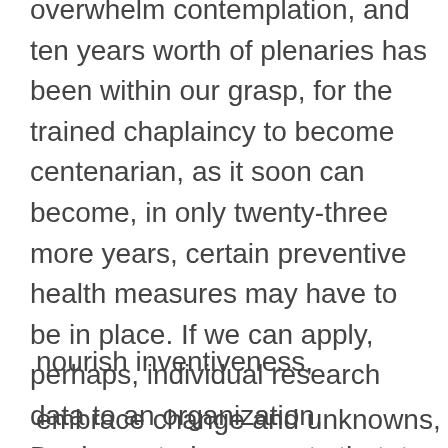overwhelm contemplation, and ten years worth of plenaries has been within our grasp, for the trained chaplaincy to become centenarian, as it soon can become, in only twenty-three more years, certain preventive health measures may have to be in place. If we can apply, perhaps, individual research data to an organization, Dunbars study suggests that, to make it to one hundred years, the clinical pastoral community will have to
nourish inventiveness,
embrace change and unknowns,